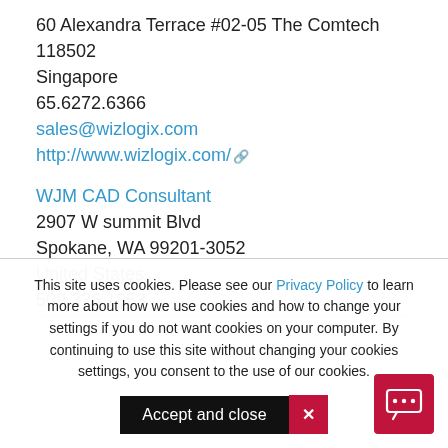60 Alexandra Terrace #02-05 The Comtech
118502
Singapore
65.6272.6366
sales@wizlogix.com
http://www.wizlogix.com/
WJM CAD Consultant
2907 W summit Blvd
Spokane, WA 99201-3052
United States
509.326.1653
This site uses cookies. Please see our Privacy Policy to learn more about how we use cookies and how to change your settings if you do not want cookies on your computer. By continuing to use this site without changing your cookies settings, you consent to the use of our cookies.
Accept and close  X